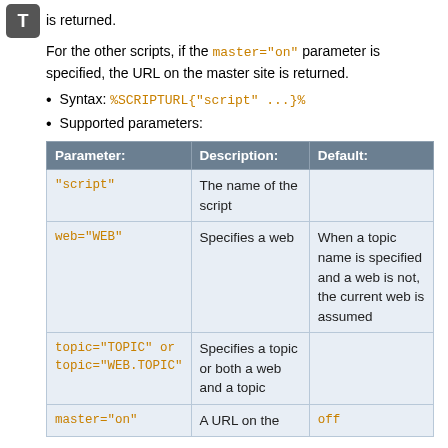is returned.
For the other scripts, if the master="on" parameter is specified, the URL on the master site is returned.
Syntax: %SCRIPTURL{"script" ...}%
Supported parameters:
| Parameter: | Description: | Default: |
| --- | --- | --- |
| "script" | The name of the script |  |
| web="WEB" | Specifies a web | When a topic name is specified and a web is not, the current web is assumed |
| topic="TOPIC" or
topic="WEB.TOPIC" | Specifies a topic or both a web and a topic |  |
| master="on" | A URL on the | off |